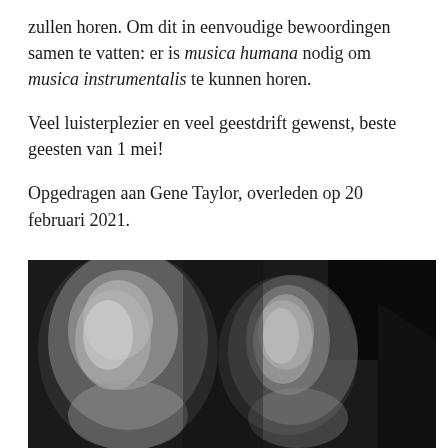zullen horen. Om dit in eenvoudige bewoordingen samen te vatten: er is musica humana nodig om musica instrumentalis te kunnen horen.
Veel luisterplezier en veel geestdrift gewenst, beste geesten van 1 mei!
Opgedragen aan Gene Taylor, overleden op 20 februari 2021.
[Figure (photo): Black and white blurred photograph showing two human figures or busts facing each other, with dramatic lighting and dark background.]